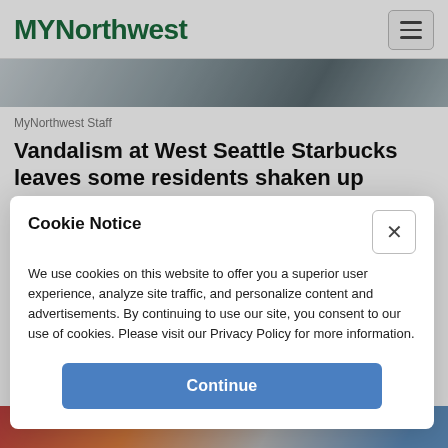MYNorthwest
[Figure (photo): Top partial photo strip showing an outdoor scene]
MyNorthwest Staff
Vandalism at West Seattle Starbucks leaves some residents shaken up
Cookie Notice
We use cookies on this website to offer you a superior user experience, analyze site traffic, and personalize content and advertisements. By continuing to use our site, you consent to our use of cookies. Please visit our Privacy Policy for more information.
Continue
[Figure (photo): Bottom partial photo strip showing people outdoors]